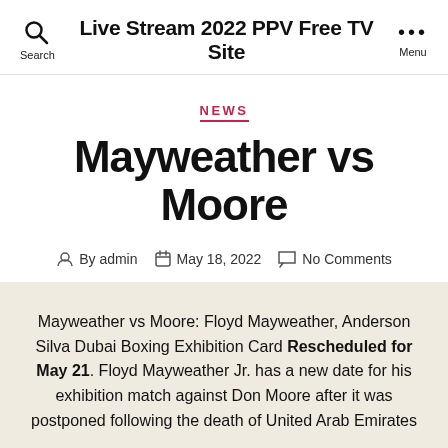Live Stream 2022 PPV Free TV Site
NEWS
Mayweather vs Moore
By admin  May 18, 2022  No Comments
Mayweather vs Moore: Floyd Mayweather, Anderson Silva Dubai Boxing Exhibition Card Rescheduled for May 21. Floyd Mayweather Jr. has a new date for his exhibition match against Don Moore after it was postponed following the death of United Arab Emirates